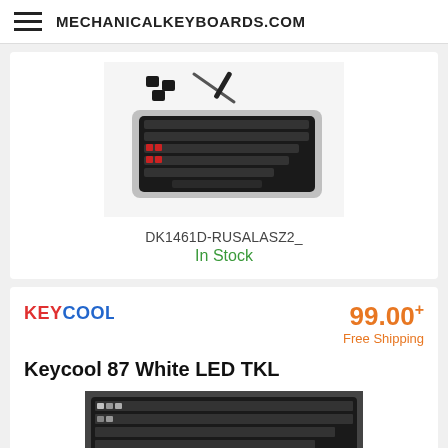MECHANICALKEYBOARDS.COM
[Figure (photo): Mechanical keyboard with gray frame and black keycaps, some red accent keys, shown with keycap puller tool and loose keycaps]
DK1461D-RUSALASZ2_
In Stock
KEYCOOL
99.00+ Free Shipping
Keycool 87 White LED TKL
[Figure (photo): Partial image of a mechanical keyboard with black keycaps and white LED backlighting, TKL form factor]